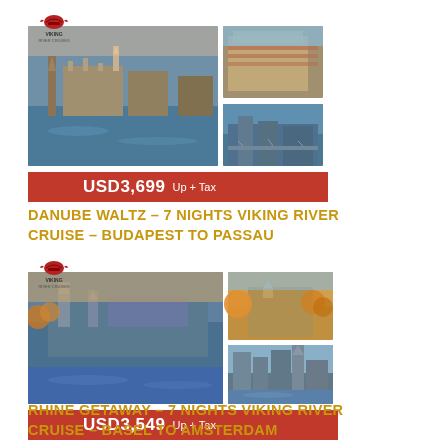[Figure (photo): Viking River Cruises promotional image collage showing Budapest/Danube river cruise photos with price bar USD3,699 Up + Tax]
DANUBE WALTZ – 7 NIGHTS VIKING RIVER CRUISE – BUDAPEST TO PASSAU
[Figure (photo): Viking River Cruises promotional image collage showing Rhine/Basel river cruise photos with price bar USD3,549 Up + Tax]
RHINE GETAWAY – 7 NIGHTS VIKING RIVER CRUISE – BASEL TO AMSTERDAM